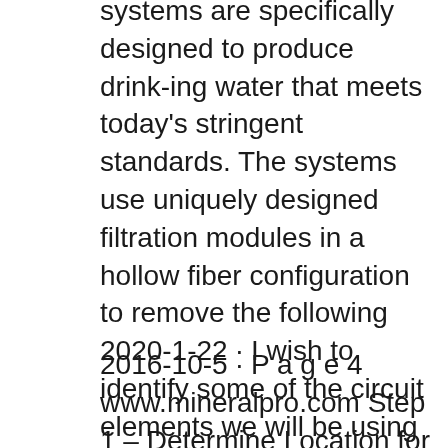systems are specifically designed to produce drink-ing water that meets today's stringent standards. The systems use uniquely designed filtration modules in a hollow fiber configuration to remove the following 2020-1-22 · I wish to identify some of the circuit elements we will be using in this lab and to acquaint you with the schematic symbols I will be using to signify these devices. In doing these labs, you will be responsible for getting the equipment and setting it up; and when you have finished your
2016-10-5 · P a g e 4 www.mineralpro.com Step 1 – Determine Location for the Faucet Note: